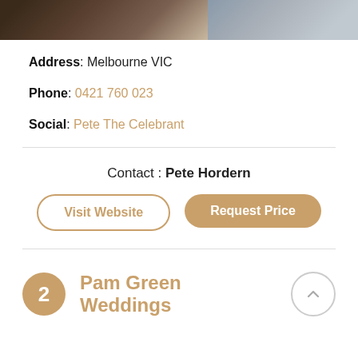[Figure (photo): Partial wedding photo showing hair/clothing of couple]
Address: Melbourne VIC
Phone: 0421 760 023
Social: Pete The Celebrant
Contact : Pete Hordern
Visit Website
Request Price
2 Pam Green Weddings